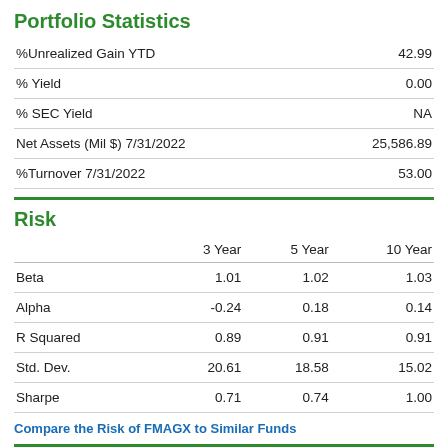Portfolio Statistics
|  |  |
| --- | --- |
| %Unrealized Gain YTD | 42.99 |
| % Yield | 0.00 |
| % SEC Yield | NA |
| Net Assets (Mil $) 7/31/2022 | 25,586.89 |
| %Turnover 7/31/2022 | 53.00 |
Risk
|  | 3 Year | 5 Year | 10 Year |
| --- | --- | --- | --- |
| Beta | 1.01 | 1.02 | 1.03 |
| Alpha | -0.24 | 0.18 | 0.14 |
| R Squared | 0.89 | 0.91 | 0.91 |
| Std. Dev. | 20.61 | 18.58 | 15.02 |
| Sharpe | 0.71 | 0.74 | 1.00 |
Compare the Risk of FMAGX to Similar Funds